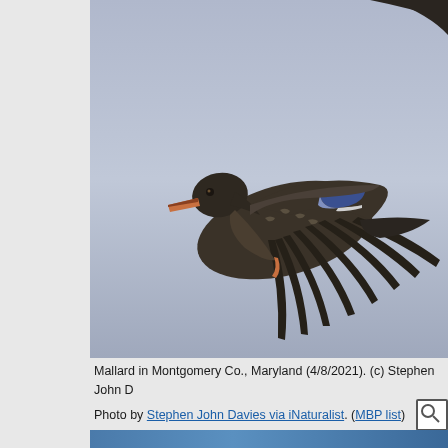[Figure (photo): A Mallard duck in flight against a pale blue-grey sky. The duck is shown in profile facing left, with wings spread, displaying dark brown speckled plumage and a distinctive blue speculum patch on the wing. An orange bill is visible. Another bird's wing tip appears at the upper right corner.]
Mallard in Montgomery Co., Maryland (4/8/2021). (c) Stephen John D... Photo by Stephen John Davies via iNaturalist. (MBP list)
[Figure (photo): Bottom portion of a second photo showing a blue sky gradient, partially visible.]